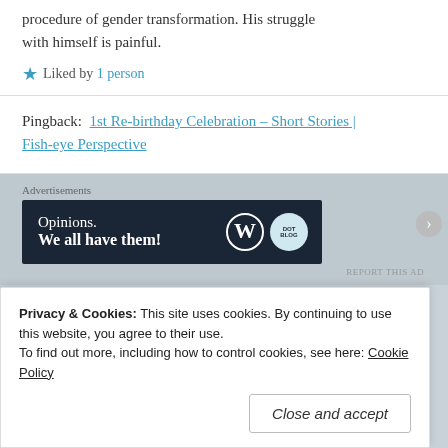procedure of gender transformation. His struggle with himself is painful.
★ Liked by 1 person
Pingback: 1st Re-birthday Celebration – Short Stories | Fish-eye Perspective
[Figure (screenshot): Advertisement banner: dark navy background with text 'Opinions. We all have them!' and WordPress logo plus a circular dot logo on the right.]
Privacy & Cookies: This site uses cookies. By continuing to use this website, you agree to their use. To find out more, including how to control cookies, see here: Cookie Policy
Close and accept